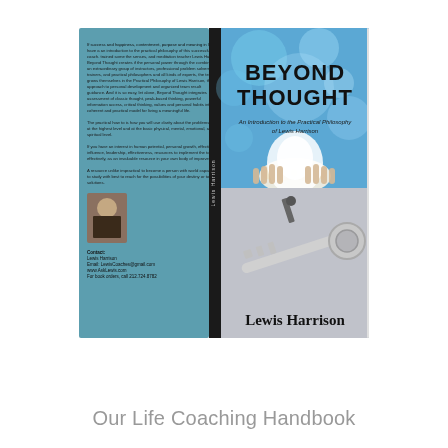[Figure (illustration): Book cover image for 'Beyond Thought: An Introduction to the Practical Philosophy of Lewis Harrison' by Lewis Harrison. Shows front and back covers. Front cover has blue bokeh background with hands holding light at top and a key image on grey background at bottom, with title 'BEYOND THOUGHT' and subtitle 'An Introduction to the Practical Philosophy of Lewis Harrison' and author name 'Lewis Harrison'. Back cover is teal/blue with body text, author photo, and contact information.]
Our Life Coaching Handbook